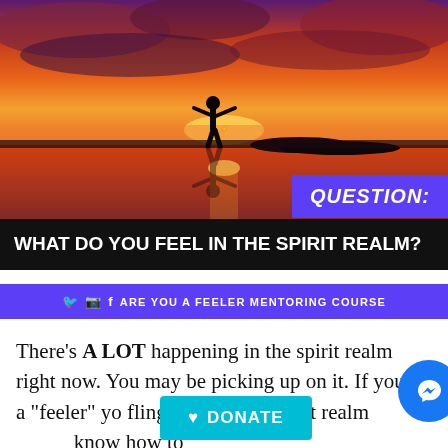[Figure (photo): Silhouette of a person standing on a reflective water surface at sunset with arms outstretched, dramatic orange-red sky with clouds]
QUESTION: WHAT DO YOU FEEL IN THE SPIRIT REALM?
ARE YOU A FEELER MENTORING COURSE
There's A LOT happening in the spirit realm right now. You may be picking up on it. If you are a "feeler" you could be feeling things in the spirit realm and not know how to